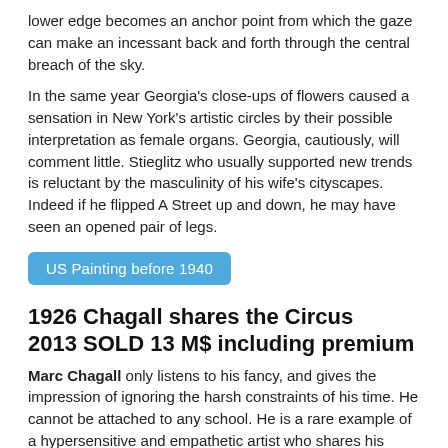lower edge becomes an anchor point from which the gaze can make an incessant back and forth through the central breach of the sky.
In the same year Georgia's close-ups of flowers caused a sensation in New York's artistic circles by their possible interpretation as female organs. Georgia, cautiously, will comment little. Stieglitz who usually supported new trends is reluctant by the masculinity of his wife's cityscapes. Indeed if he flipped A Street up and down, he may have seen an opened pair of legs.
US Painting before 1940
1926 Chagall shares the Circus 2013 SOLD 13 M$ including premium
Marc Chagall only listens to his fancy, and gives the impression of ignoring the harsh constraints of his time. He cannot be attached to any school. He is a rare example of a hypersensitive and empathetic artist who shares his wonderful feelings. The closest example in the history of modern art is perhaps the "Douanier" Rousseau.
But nothing is easy. Chagall had its first success in Paris, but he was